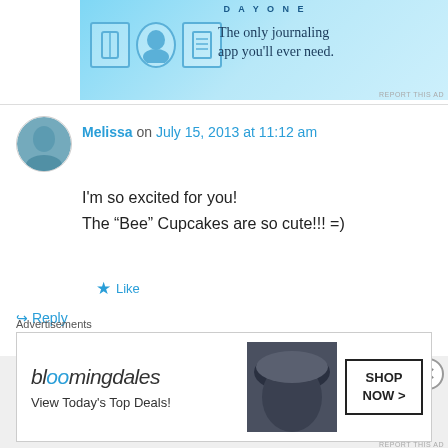[Figure (screenshot): Day One journaling app advertisement banner with light blue background, icons, and tagline 'The only journaling app you'll ever need.']
Melissa on July 15, 2013 at 11:12 am
I'm so excited for you!
The “Bee” Cupcakes are so cute!!! =)
★ Like
↳ Reply
Veronica on July 15, 2013 at 1:32 pm
Thanks Melissa! I'll be sharing the recipe
Advertisements
[Figure (screenshot): Bloomingdale's advertisement: 'bloomingdales View Today’s Top Deals! SHOP NOW >']